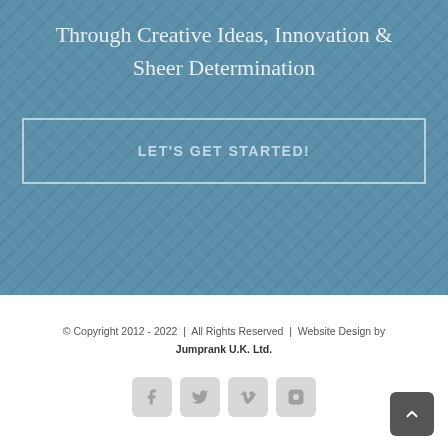Through Creative Ideas, Innovation & Sheer Determination
LET'S GET STARTED!
© Copyright 2012 - 2022  |  All Rights Reserved  |  Website Design by Jumprank U.K. Ltd.
[Figure (other): Social media icons row: Facebook, Twitter, Vimeo, Instagram, and a scroll-to-top button]